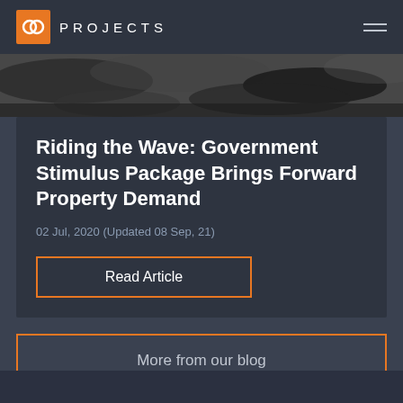OC PROJECTS
[Figure (photo): Black and white aerial/landscape photo used as hero image banner]
Riding the Wave: Government Stimulus Package Brings Forward Property Demand
02 Jul, 2020 (Updated 08 Sep, 21)
Read Article
More from our blog